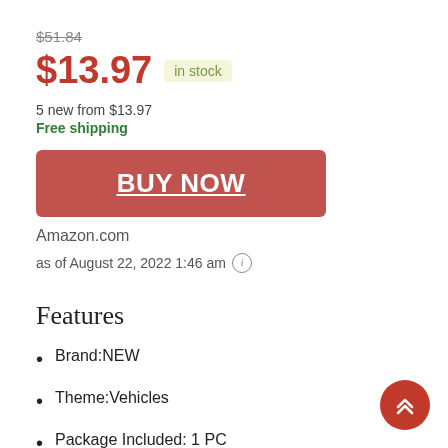$51.84
$13.97  in stock
5 new from $13.97
Free shipping
BUY NOW
Amazon.com
as of August 22, 2022 1:46 am
Features
Brand:NEW
Theme:Vehicles
Package Included: 1 PC